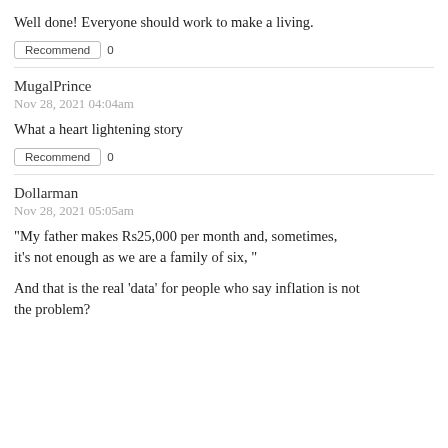Well done! Everyone should work to make a living.
Recommend  0
MugalPrince
Nov 28, 2021 04:04am
What a heart lightening story
Recommend  0
Dollarman
Nov 28, 2021 05:05am
"My father makes Rs25,000 per month and, sometimes, it's not enough as we are a family of six, "
And that is the real 'data' for people who say inflation is not the problem?